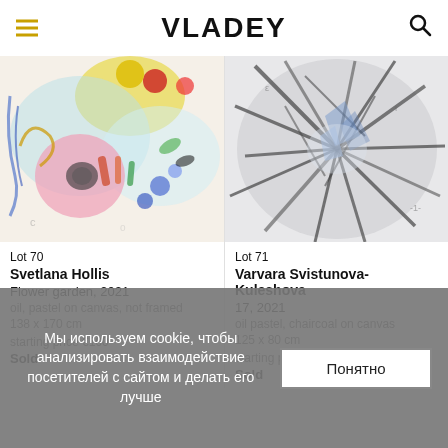VLADEY
[Figure (photo): Colorful abstract painting - Flower garden 2021 by Svetlana Hollis, oil and pastel on canvas]
Lot 70
Svetlana Hollis
Flower garden, 2021
oil, pastel on canvas, not framed
138 x 170 cm
starting price €100
Sold
[Figure (photo): Abstract dark painting - 17, 2021 by Varvara Svistunova-Kuleshova, oil pastel and charcoal on canvas]
Lot 71
Varvara Svistunova-Kuleshova
17, 2021
oil pastel, chaircoal on canvas
125 x 80 cm
starting price €100
Sold
Мы используем cookie, чтобы анализировать взаимодействие посетителей с сайтом и делать его лучше
Понятно